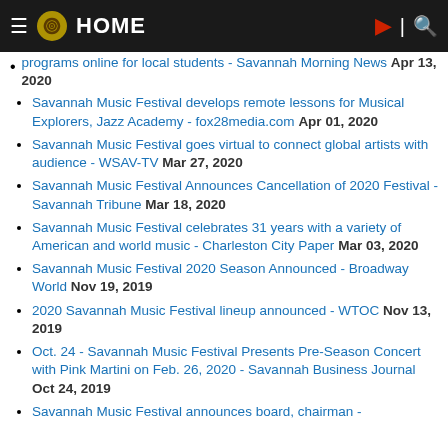HOME
programs online for local students - Savannah Morning News Apr 13, 2020
Savannah Music Festival develops remote lessons for Musical Explorers, Jazz Academy - fox28media.com Apr 01, 2020
Savannah Music Festival goes virtual to connect global artists with audience - WSAV-TV Mar 27, 2020
Savannah Music Festival Announces Cancellation of 2020 Festival - Savannah Tribune Mar 18, 2020
Savannah Music Festival celebrates 31 years with a variety of American and world music - Charleston City Paper Mar 03, 2020
Savannah Music Festival 2020 Season Announced - Broadway World Nov 19, 2019
2020 Savannah Music Festival lineup announced - WTOC Nov 13, 2019
Oct. 24 - Savannah Music Festival Presents Pre-Season Concert with Pink Martini on Feb. 26, 2020 - Savannah Business Journal Oct 24, 2019
Savannah Music Festival announces board, chairman -